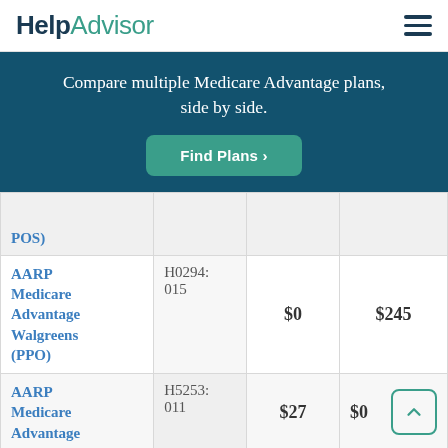HelpAdvisor
Compare multiple Medicare Advantage plans, side by side.
Find Plans >
| Plan Name | Plan ID | Premium | Deductible |
| --- | --- | --- | --- |
| POS) |  |  |  |
| AARP Medicare Advantage Walgreens (PPO) | H0294: 015 | $0 | $245 |
| AARP Medicare Advantage | H5253: 011 | $27 | $0 |